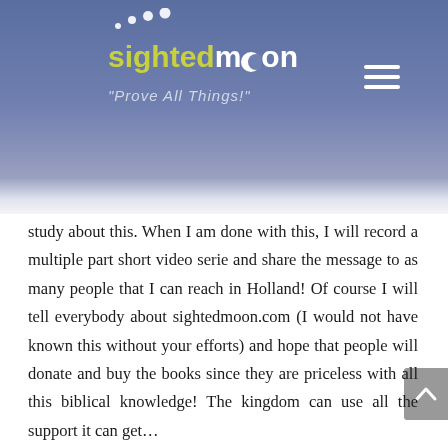[Figure (logo): Sightedmoon logo with moon icon, yellow-green 'sighted' text, white 'moon' text, and italic tagline 'Prove All Things!' on blue-purple gradient header]
study about this. When I am done with this, I will record a multiple part short video serie and share the message to as many people that I can reach in Holland! Of course I will tell everybody about sightedmoon.com (I would not have known this without your efforts) and hope that people will donate and buy the books since they are priceless with all this biblical knowledge! The kingdom can use all the support it can get… I hope you are still up for a Skype conversation brother. I know you were sick so I just wait on my turn. ☺ I like to